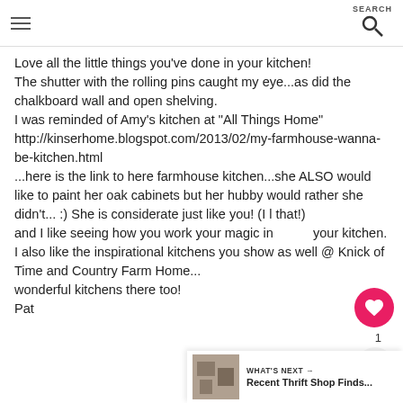SEARCH
Love all the little things you've done in your kitchen!
The shutter with the rolling pins caught my eye...as did the chalkboard wall and open shelving.
I was reminded of Amy's kitchen at "All Things Home"
http://kinserhome.blogspot.com/2013/02/my-farmhouse-wanna-be-kitchen.html
...here is the link to here farmhouse kitchen...she ALSO would like to paint her oak cabinets but her hubby would rather she didn't... :) She is considerate just like you! (I l that!)
and I like seeing how you work your magic in your kitchen.
I also like the inspirational kitchens you show as well @ Knick of Time and Country Farm Home...
wonderful kitchens there too!
Pat